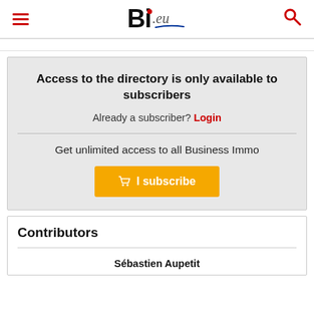BI.eu
Access to the directory is only available to subscribers
Already a subscriber? Login
Get unlimited access to all Business Immo
I subscribe
Contributors
Sébastien Aupetit